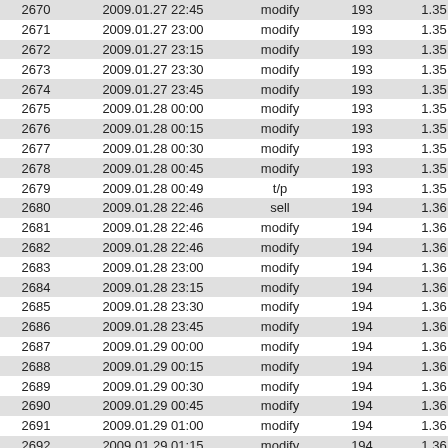| 2670 | 2009.01.27 22:45 | modify | 193 | 1.35 |
| 2671 | 2009.01.27 23:00 | modify | 193 | 1.35 |
| 2672 | 2009.01.27 23:15 | modify | 193 | 1.35 |
| 2673 | 2009.01.27 23:30 | modify | 193 | 1.35 |
| 2674 | 2009.01.27 23:45 | modify | 193 | 1.35 |
| 2675 | 2009.01.28 00:00 | modify | 193 | 1.35 |
| 2676 | 2009.01.28 00:15 | modify | 193 | 1.35 |
| 2677 | 2009.01.28 00:30 | modify | 193 | 1.35 |
| 2678 | 2009.01.28 00:45 | modify | 193 | 1.35 |
| 2679 | 2009.01.28 00:49 | t/p | 193 | 1.35 |
| 2680 | 2009.01.28 22:46 | sell | 194 | 1.36 |
| 2681 | 2009.01.28 22:46 | modify | 194 | 1.36 |
| 2682 | 2009.01.28 22:46 | modify | 194 | 1.36 |
| 2683 | 2009.01.28 23:00 | modify | 194 | 1.36 |
| 2684 | 2009.01.28 23:15 | modify | 194 | 1.36 |
| 2685 | 2009.01.28 23:30 | modify | 194 | 1.36 |
| 2686 | 2009.01.28 23:45 | modify | 194 | 1.36 |
| 2687 | 2009.01.29 00:00 | modify | 194 | 1.36 |
| 2688 | 2009.01.29 00:15 | modify | 194 | 1.36 |
| 2689 | 2009.01.29 00:30 | modify | 194 | 1.36 |
| 2690 | 2009.01.29 00:45 | modify | 194 | 1.36 |
| 2691 | 2009.01.29 01:00 | modify | 194 | 1.36 |
| 2692 | 2009.01.29 01:15 | modify | 194 | 1.36 |
| 2693 | 2009.01.29 01:30 | modify | 194 | 1.36 |